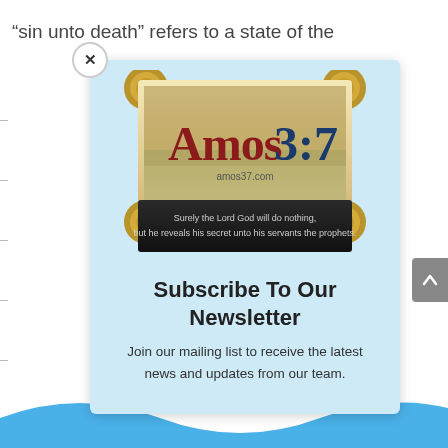“sin unto death” refers to a state of the
[Figure (logo): Amos 3:7 website logo showing a scroll graphic with the text 'Amos3:7' and the quote 'Surely the Lord God will do nothing, but he reveals his secret unto his servants the prophets.' with website amos37.com]
Subscribe To Our Newsletter
Join our mailing list to receive the latest news and updates from our team.